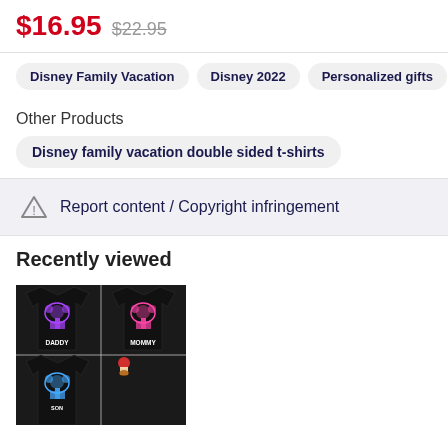$16.95  $22.95
Disney Family Vacation
Disney 2022
Personalized gifts
Other Products
Disney family vacation double sided t-shirts
Report content / Copyright infringement
Recently viewed
[Figure (photo): Black Disney family vacation t-shirts arranged in a grid, showing multiple shirts with colorful neon Disney designs including Mickey Mouse and castle graphics. Shirts labeled DADDY and MOMMY visible.]